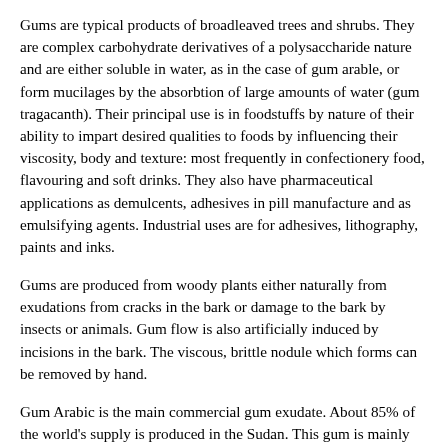Gums are typical products of broadleaved trees and shrubs. They are complex carbohydrate derivatives of a polysaccharide nature and are either soluble in water, as in the case of gum arable, or form mucilages by the absorbtion of large amounts of water (gum tragacanth). Their principal use is in foodstuffs by nature of their ability to impart desired qualities to foods by influencing their viscosity, body and texture: most frequently in confectionery food, flavouring and soft drinks. They also have pharmaceutical applications as demulcents, adhesives in pill manufacture and as emulsifying agents. Industrial uses are for adhesives, lithography, paints and inks.
Gums are produced from woody plants either naturally from exudations from cracks in the bark or damage to the bark by insects or animals. Gum flow is also artificially induced by incisions in the bark. The viscous, brittle nodule which forms can be removed by hand.
Gum Arabic is the main commercial gum exudate. About 85% of the world's supply is produced in the Sudan. This gum is mainly obtained from Acacia senegal and some from the related species A. laeta, A. polyacantha and A. mellifera. Production of 40.000 tonnes per year currently exceeds supply.
Other gums are Gum Karaya from Sterculia urens, S. villosa (India), S. setigera (Africa) and it has considerable commercial importance...